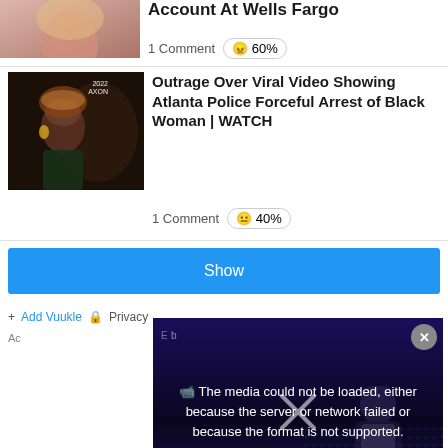[Figure (photo): Partial view of article thumbnail showing a woman with blonde hair]
Account At Wells Fargo
1 Comment  😠 60%
[Figure (photo): Thumbnail showing a Black woman being arrested by Atlanta Police, with '2022 AXON' watermark]
Outrage Over Viral Video Showing Atlanta Police Forceful Arrest of Black Woman | WATCH
1 Comment  😐 40%
Show
Add Vuukle  Privacy
Ac
[Figure (screenshot): Video player popup with error message: The media could not be loaded, either because the server or network failed or because the format is not supported. Close button (X) visible. Dark background with person silhouette.]